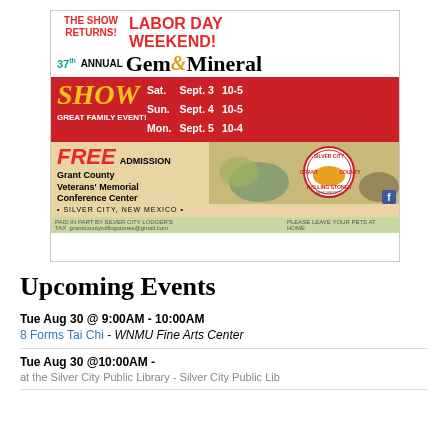[Figure (infographic): Advertisement for 37th Annual Gem & Mineral Show, Labor Day Weekend, Grant County Veterans' Memorial Conference Center, Silver City NM. Dates: Sat Sept 3 10-5, Sun Sept 4 10-5, Mon Sept 5 10-4. Free Admission.]
Upcoming Events
Tue Aug 30 @ 9:00AM - 10:00AM
8 Forms Tai Chi - WNMU Fine Arts Center
Tue Aug 30 @10:00AM -
at the Silver City Public Library - Silver City Public Library